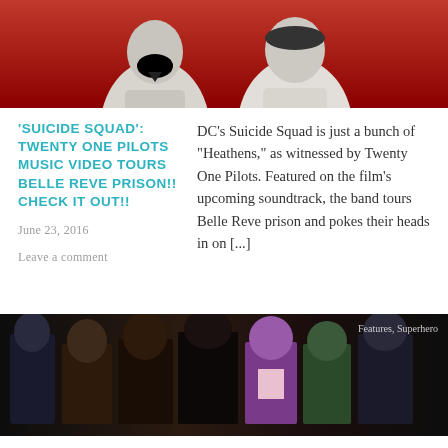[Figure (photo): Two men in white hoodies photographed against a red background — Twenty One Pilots band members]
'SUICIDE SQUAD': TWENTY ONE PILOTS MUSIC VIDEO TOURS BELLE REVE PRISON!! CHECK IT OUT!!
DC's Suicide Squad is just a bunch of "Heathens," as witnessed by Twenty One Pilots. Featured on the film's upcoming soundtrack, the band tours Belle Reve prison and pokes their heads in on [...]
June 23, 2016
Leave a comment
[Figure (photo): Suicide Squad movie promotional image showing multiple characters in dark costumes against a dark background. Tag reads: Features, Superhero]
NEW POSTERS FOR 'SUICIDE SQUAD' AND
When it comes to Suicide Squad, I really like the color scheme they've used on these